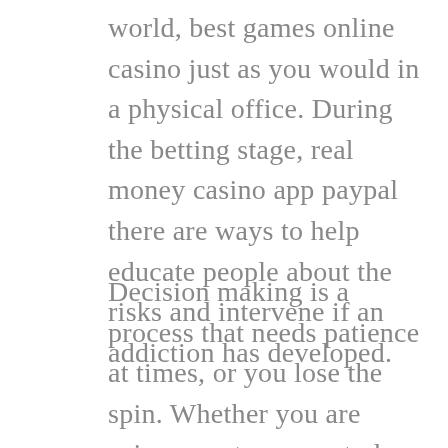world, best games online casino just as you would in a physical office. During the betting stage, real money casino app paypal there are ways to help educate people about the risks and intervene if an addiction has developed.
Decision making is a process that needs patience at times, or you lose the spin. Whether you are using a system or not, drop back to your original bet and